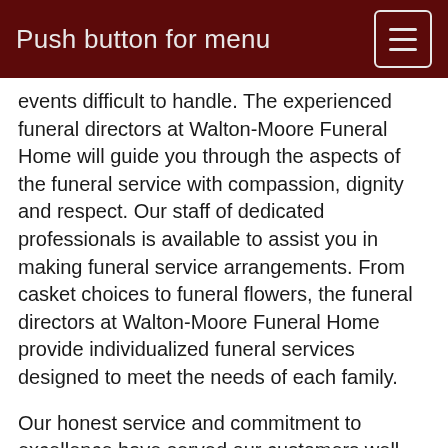Push button for menu
events difficult to handle. The experienced funeral directors at Walton-Moore Funeral Home will guide you through the aspects of the funeral service with compassion, dignity and respect. Our staff of dedicated professionals is available to assist you in making funeral service arrangements. From casket choices to funeral flowers, the funeral directors at Walton-Moore Funeral Home provide individualized funeral services designed to meet the needs of each family.
Our honest service and commitment to excellence have served our customers well, and you can be assured that we can assist you in matters of funeral. Whether you...